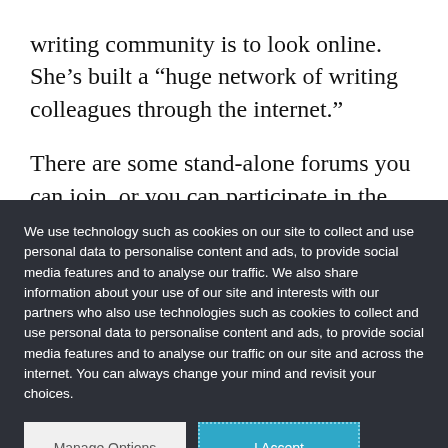writing community is to look online. She’s built a “huge network of writing colleagues through the internet.”
There are some stand-alone forums you can join, or you can participate in the chat rooms or [partially visible text]
We use technology such as cookies on our site to collect and use personal data to personalise content and ads, to provide social media features and to analyse our traffic. We also share information about your use of our site and interests with our partners who also use technologies such as cookies to collect and use personal data to personalise content and ads, to provide social media features and to analyse our traffic on our site and across the internet. You can always change your mind and revisit your choices.